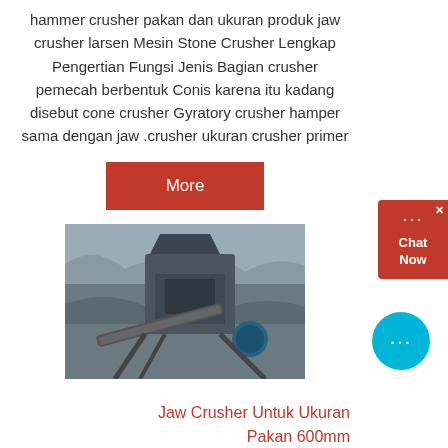hammer crusher pakan dan ukuran produk jaw crusher larsen Mesin Stone Crusher Lengkap Pengertian Fungsi Jenis Bagian crusher pemecah berbentuk Conis karena itu kadang disebut cone crusher Gyratory crusher hamper sama dengan jaw crusher ukuran crusher primer
[Figure (other): Red button labeled 'More']
[Figure (photo): Photo of a large jaw crusher machine at a quarry/mining site with rocks and conveyor belts visible]
Jaw Crusher Untuk Ukuran Pakan 600mm
distribusi ukuran pakan
[Figure (other): Chat Now widget - red box with chat bubble icon, close button, and text 'Chat Now']
[Figure (other): Blue circular chat button with three dots icon]